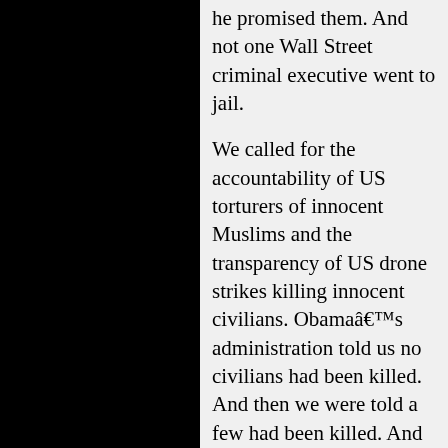he promised them. And not one Wall Street criminal executive went to jail.
We called for the accountability of US torturers of innocent Muslims and the transparency of US drone strikes killing innocent civilians. Obama’s administration told us no civilians had been killed. And then we were told a few had been killed. And then told maybe 65 or so had been killed. Yet when an American civilian, Warren Weinstein, was killed in 2015...